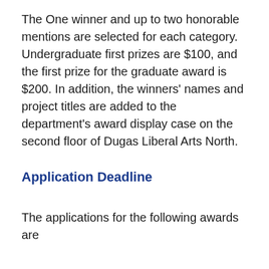The One winner and up to two honorable mentions are selected for each category. Undergraduate first prizes are $100, and the first prize for the graduate award is $200. In addition, the winners' names and project titles are added to the department's award display case on the second floor of Dugas Liberal Arts North.
Application Deadline
The applications for the following awards are